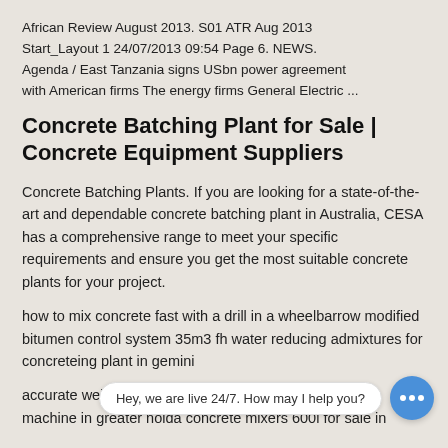African Review August 2013. S01 ATR Aug 2013 Start_Layout 1 24/07/2013 09:54 Page 6. NEWS. Agenda / East Tanzania signs USbn power agreement with American firms The energy firms General Electric ...
Concrete Batching Plant for Sale | Concrete Equipment Suppliers
Concrete Batching Plants. If you are looking for a state-of-the-art and dependable concrete batching plant in Australia, CESA has a comprehensive range to meet your specific requirements and ensure you get the most suitable concrete plants for your project.
how to mix concrete fast with a drill in a wheelbarrow modified bitumen control system 35m3 fh water reducing admixtures for concreteing plant in gemini
accurate weighin Hey, we are live 24/7. How may I help you? n machine in greater noida concrete mixers 600l for sale in